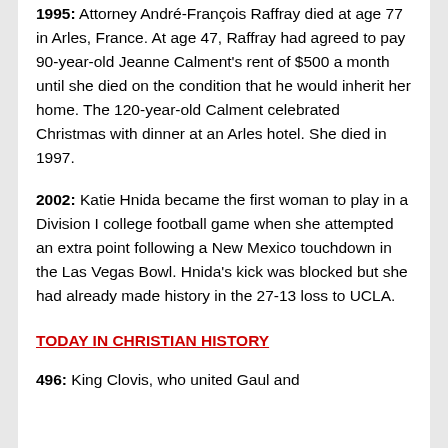1995: Attorney André-François Raffray died at age 77 in Arles, France. At age 47, Raffray had agreed to pay 90-year-old Jeanne Calment's rent of $500 a month until she died on the condition that he would inherit her home. The 120-year-old Calment celebrated Christmas with dinner at an Arles hotel. She died in 1997.
2002: Katie Hnida became the first woman to play in a Division I college football game when she attempted an extra point following a New Mexico touchdown in the Las Vegas Bowl. Hnida's kick was blocked but she had already made history in the 27-13 loss to UCLA.
TODAY IN CHRISTIAN HISTORY
496: King Clovis, who united Gaul and